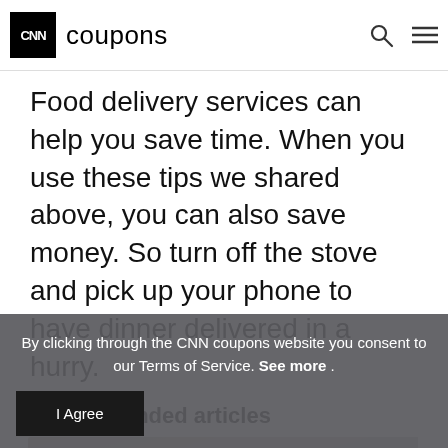CNN coupons
Food delivery services can help you save time. When you use these tips we shared above, you can also save money. So turn off the stove and pick up your phone to have dinner delivered in a hurry.
Recommended articles
[Figure (photo): A person wearing a dark red/maroon jacket and hat, photographed from behind against a grey textured background.]
By clicking through the CNN coupons website you consent to our Terms of Service. See more .
I Agree